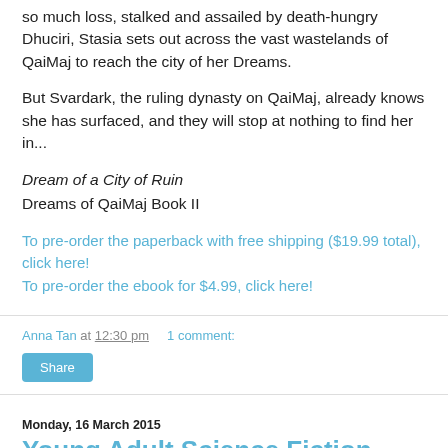so much loss, stalked and assailed by death-hungry Dhuciri, Stasia sets out across the vast wastelands of QaiMaj to reach the city of her Dreams.
But Svardark, the ruling dynasty on QaiMaj, already knows she has surfaced, and they will stop at nothing to find her in...
Dream of a City of Ruin
Dreams of QaiMaj Book II
To pre-order the paperback with free shipping ($19.99 total), click here!
To pre-order the ebook for $4.99, click here!
Anna Tan at 12:30 pm    1 comment:
Share
Monday, 16 March 2015
Young Adult Science Fiction Multi